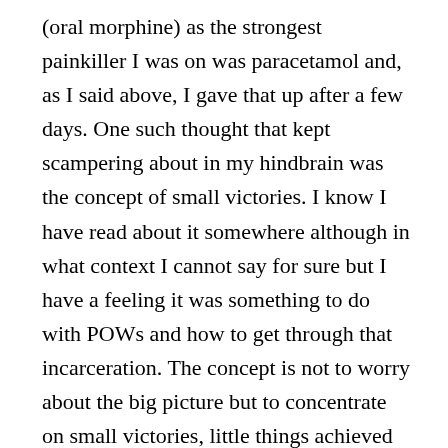(oral morphine) as the strongest painkiller I was on was paracetamol and, as I said above, I gave that up after a few days. One such thought that kept scampering about in my hindbrain was the concept of small victories. I know I have read about it somewhere although in what context I cannot say for sure but I have a feeling it was something to do with POWs and how to get through that incarceration. The concept is not to worry about the big picture but to concentrate on small victories, little things achieved like getting one over on the guards or whatever. The concept was very much on my mind in relation to my diet with a series of small victories and one crushing defeat. Allow me to explain but first